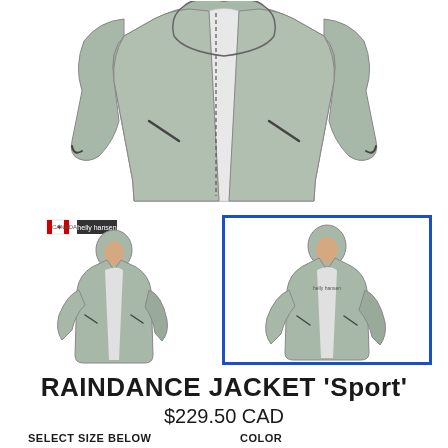[Figure (photo): Main product photo of a grey/sage Raindance Sport jacket laid flat, front open showing white lining, with hood and long sleeves]
[Figure (photo): Thumbnail of a person wearing the grey Raindance Sport jacket with hood up, small Canada and brand logo badges visible]
[Figure (photo): Thumbnail of a person wearing the grey Raindance Sport jacket with hood up, selected/highlighted with blue border]
RAINDANCE JACKET 'Sport'
$229.50 CAD
SELECT SIZE BELOW
COLOR